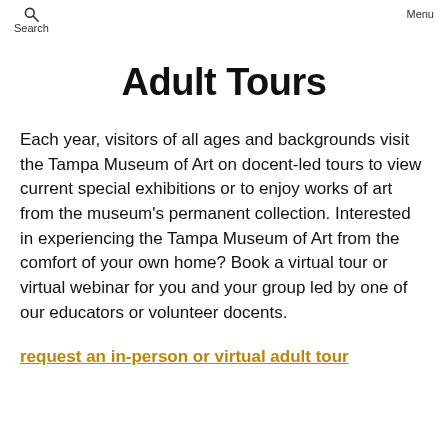Search   Menu
Adult Tours
Each year, visitors of all ages and backgrounds visit the Tampa Museum of Art on docent-led tours to view current special exhibitions or to enjoy works of art from the museum's permanent collection. Interested in experiencing the Tampa Museum of Art from the comfort of your own home? Book a virtual tour or virtual webinar for you and your group led by one of our educators or volunteer docents.
request an in-person or virtual adult tour